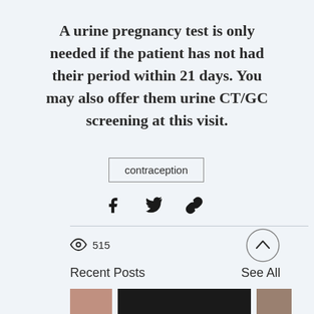A urine pregnancy test is only needed if the patient has not had their period within 21 days. You may also offer them urine CT/GC screening at this visit.
contraception
[Figure (infographic): Social share icons: Facebook, Twitter, and link/chain icon]
515
[Figure (infographic): Scroll to top button: circle with upward chevron]
Recent Posts
See All
[Figure (photo): Three thumbnail images at the bottom of the page]